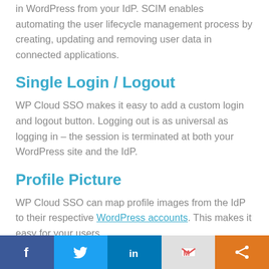Automatically create, update or delete users in WordPress from your IdP. SCIM enables automating the user lifecycle management process by creating, updating and removing user data in connected applications.
Single Login / Logout
WP Cloud SSO makes it easy to add a custom login and logout button. Logging out is as universal as logging in – the session is terminated at both your WordPress site and the IdP.
Profile Picture
WP Cloud SSO can map profile images from the IdP to their respective WordPress accounts. This makes it easy for your users